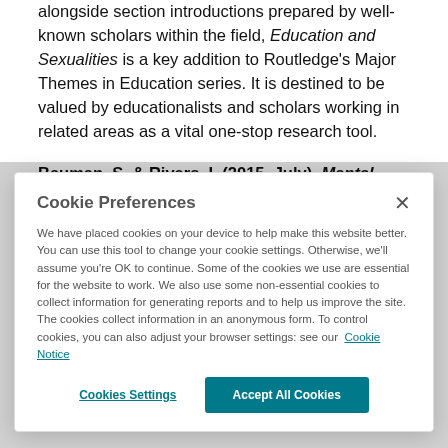alongside section introductions prepared by well-known scholars within the field, Education and Sexualities is a key addition to Routledge's Major Themes in Education series. It is destined to be valued by educationalists and scholars working in related areas as a vital one-stop research tool.
Bauman, S. & Rivers, I. (2015, July). Mental Health in the Digital Age. Review by Palgrave Macmillan. ISBN 978-...
Cookie Preferences

We have placed cookies on your device to help make this website better. You can use this tool to change your cookie settings. Otherwise, we'll assume you're OK to continue. Some of the cookies we use are essential for the website to work. We also use some non-essential cookies to collect information for generating reports and to help us improve the site. The cookies collect information in an anonymous form. To control cookies, you can also adjust your browser settings: see our Cookie Notice

[Cookies Settings] [Accept All Cookies]